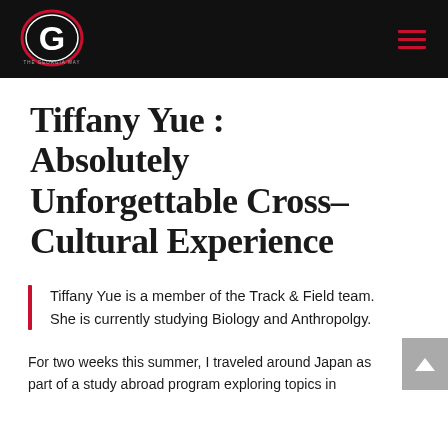The Georgia Way — Navigation Header
Tiffany Yue : Absolutely Unforgettable Cross–Cultural Experience
Tiffany Yue is a member of the Track & Field team. She is currently studying Biology and Anthropolgy.
For two weeks this summer, I traveled around Japan as part of a study abroad program exploring topics in